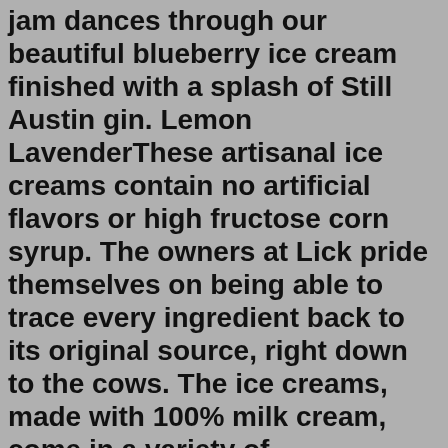jam dances through our beautiful blueberry ice cream finished with a splash of Still Austin gin. Lemon LavenderThese artisanal ice creams contain no artificial flavors or high fructose corn syrup. The owners at Lick pride themselves on being able to trace every ingredient back to its original source, right down to the cows. The ice creams, made with 100% milk cream, come in a variety of meticulously crafted flavors. Move over vanilla and chocolate. Here Are Some Of Austin's Best Címkék: Austin Bakeries, Austin King Cakes, bakeries, Central Market, Easy Tiger, Fat Tuesday, gati ice cream, Julie myrtille bakery, King Cake, King Cakes, Lick Ice Cream, lola's donuts, Mardi Gras, Mardi Gras in Austin, Sawyer & Co, Stuffed, sugar mamas, Walton's Fancy & Staple 2022 / 01 / 20 Lick Honest Ice Creams is open Mon, Tue, Wed, Thu, Fri, Sat, Sun.Based in Austin, Texas, Lick Ice Creams is a small, locally owned business that makes seasonal, sustainable ice creams from the freshest local ingredients. Great ice cream must begin with the best milk and cream. Our